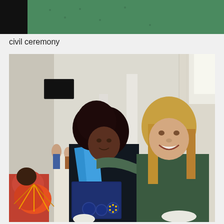[Figure (photo): Top portion of a photo showing people at a civil ceremony, cropped at torso level. One person in a green top and another in a white shirt are visible.]
civil ceremony
[Figure (photo): Two women posing together at a civil ceremony in a large bright interior space. The woman on the left has curly hair and is wearing a black top with a blue sash/stole and holding a blue diploma folder with official seals. The woman on the right has straight blonde hair and is wearing a dark green t-shirt and white gloves. In the background are white chairs, columns, and other attendees.]